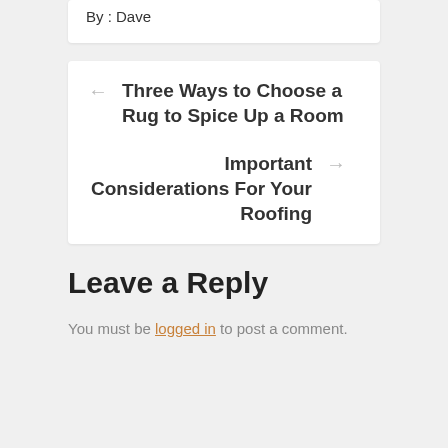By : Dave
← Three Ways to Choose a Rug to Spice Up a Room
Important Considerations For Your Roofing →
Leave a Reply
You must be logged in to post a comment.